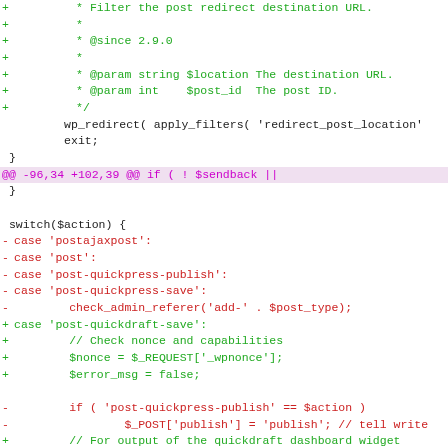[Figure (screenshot): A code diff view showing changes to a PHP file, with added lines in green, removed lines in red, and hunk headers in purple/magenta on a white background.]